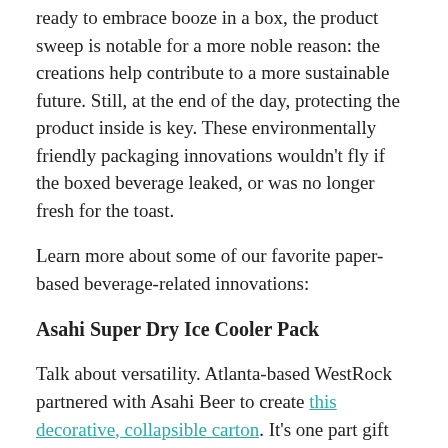ready to embrace booze in a box, the product sweep is notable for a more noble reason: the creations help contribute to a more sustainable future. Still, at the end of the day, protecting the product inside is key. These environmentally friendly packaging innovations wouldn't fly if the boxed beverage leaked, or was no longer fresh for the toast.
Learn more about some of our favorite paper-based beverage-related innovations:
Asahi Super Dry Ice Cooler Pack
Talk about versatility. Atlanta-based WestRock partnered with Asahi Beer to create this decorative, collapsible carton. It's one part gift box and one part ice cooler. The interior has a special coating that prevents leaks and keeps ice cold. It's designed to be used over and over again. Summer-ready!
Boxed Water